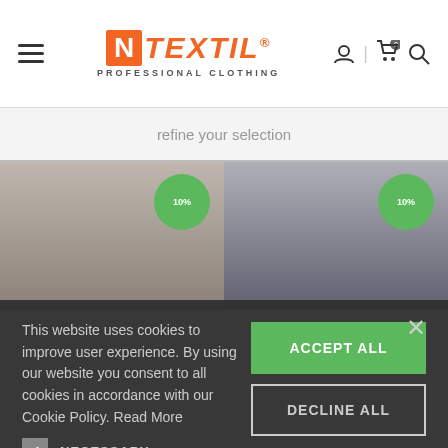[Figure (screenshot): NTextil Professional Clothing website header with hamburger menu, orange logo, user icon, cart icon with 0 badge, and search icon]
refine your selection
[Figure (photo): Two men in professional clothing with green circular badges overlaid]
This website uses cookies to improve user experience. By using our website you consent to all cookies in accordance with our Cookie Policy. Read More
NECESSARY
PERFORMANCE
ADVERTISING
FUNCTIONALITY